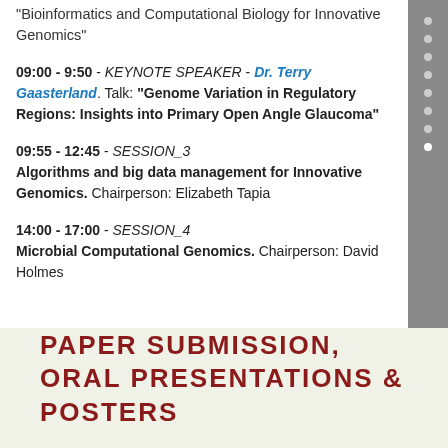"Bioinformatics and Computational Biology for Innovative Genomics"
09:00 - 9:50 - KEYNOTE SPEAKER - Dr. Terry Gaasterland. Talk: "Genome Variation in Regulatory Regions: Insights into Primary Open Angle Glaucoma"
09:55 - 12:45 - SESSION_3 Algorithms and big data management for Innovative Genomics. Chairperson: Elizabeth Tapia
14:00 - 17:00 - SESSION_4 Microbial Computational Genomics. Chairperson: David Holmes
PAPER SUBMISSION, ORAL PRESENTATIONS & POSTERS